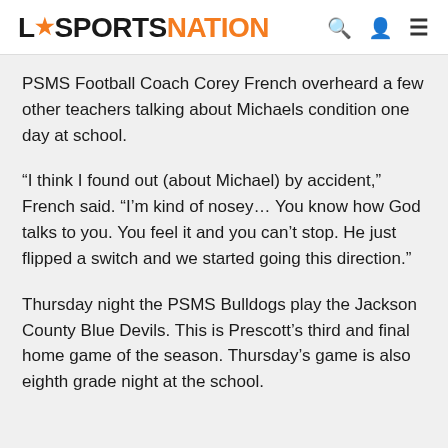UC SPORTS NATION
PSMS Football Coach Corey French overheard a few other teachers talking about Michaels condition one day at school.
“I think I found out (about Michael) by accident,” French said. “I’m kind of nosey… You know how God talks to you. You feel it and you can’t stop. He just flipped a switch and we started going this direction.”
Thursday night the PSMS Bulldogs play the Jackson County Blue Devils. This is Prescott’s third and final home game of the season. Thursday’s game is also eighth grade night at the school.